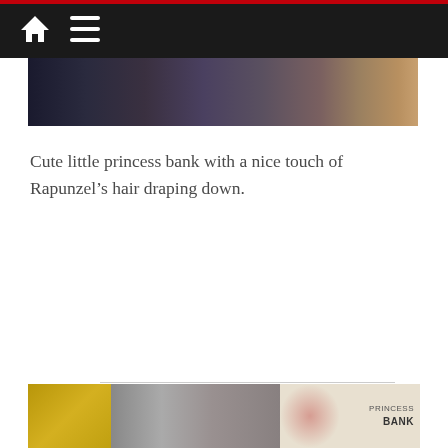Navigation bar with home and menu icons
[Figure (photo): Partial photo strip at top showing dark clothing items and a box/package in the background]
Cute little princess bank with a nice touch of Rapunzel’s hair draping down.
[Figure (photo): Bottom photo strip showing golden textured surface on the left, gray shelving in center, and a pink/red princess bank product on the right with text PRINCESS BANK]